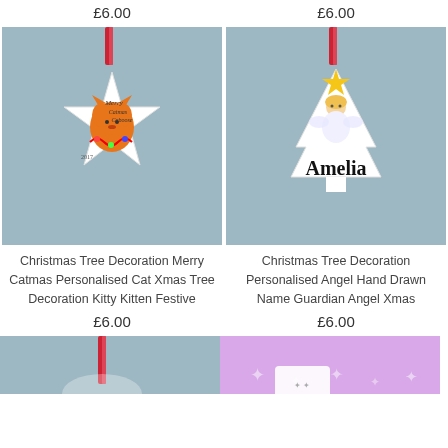£6.00
£6.00
[Figure (photo): Christmas tree decoration - star-shaped white ornament with cat illustration and text 'Merry Catmas Caboose 2017', hanging from red ribbon, on blue-grey background]
[Figure (photo): Christmas tree decoration - tree-shaped white ornament with angel illustration and name 'Amelia' in black bold script font, hanging from red ribbon, on blue-grey background]
Christmas Tree Decoration Merry Catmas Personalised Cat Xmas Tree Decoration Kitty Kitten Festive
Christmas Tree Decoration Personalised Angel Hand Drawn Name Guardian Angel Xmas
£6.00
£6.00
[Figure (photo): Bottom-left partial image: red ribbon visible against blue-grey background, another ornament partially shown]
[Figure (photo): Bottom-right partial image: purple/lavender background with star/snowflake patterns, white tag visible]